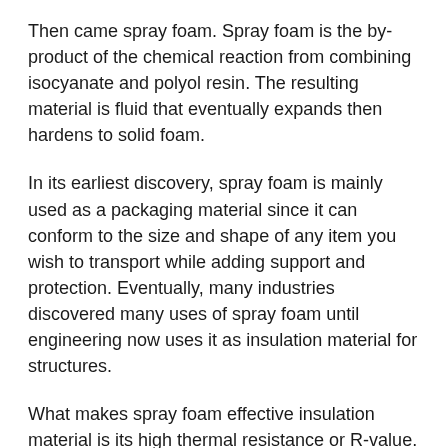Then came spray foam. Spray foam is the by-product of the chemical reaction from combining isocyanate and polyol resin. The resulting material is fluid that eventually expands then hardens to solid foam.
In its earliest discovery, spray foam is mainly used as a packaging material since it can conform to the size and shape of any item you wish to transport while adding support and protection. Eventually, many industries discovered many uses of spray foam until engineering now uses it as insulation material for structures.
What makes spray foam effective insulation material is its high thermal resistance or R-value. In engineering, the R-value is the measure of how capable an insulation material is in resisting or